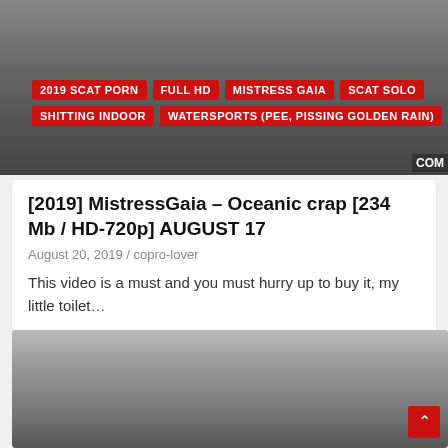[Figure (screenshot): Thumbnail/preview image of a video with dark background]
2019 SCAT PORN   FULL HD   MISTRESS GAIA   SCAT SOLO   SHITTING INDOOR   WATERSPORTS (PEE, PISSING GOLDEN RAIN)
[2019] MistressGaia – Oceanic crap [234 Mb / HD-720p] AUGUST 17
August 20, 2019 / copro-lover
This video is a must and you must hurry up to buy it, my little toilet...
[Figure (screenshot): Video thumbnail showing a person in a kitchen setting]